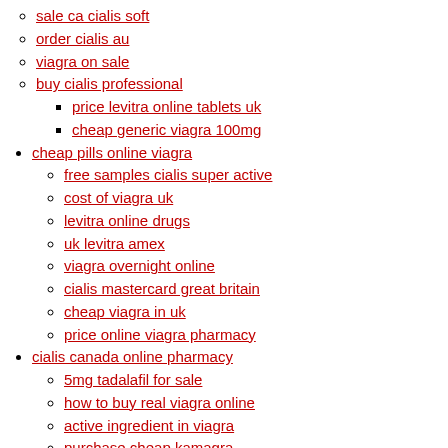sale ca cialis soft
order cialis au
viagra on sale
buy cialis professional
price levitra online tablets uk
cheap generic viagra 100mg
cheap pills online viagra
free samples cialis super active
cost of viagra uk
levitra online drugs
uk levitra amex
viagra overnight online
cialis mastercard great britain
cheap viagra in uk
price online viagra pharmacy
cialis canada online pharmacy
5mg tadalafil for sale
how to buy real viagra online
active ingredient in viagra
purchase cheap kamagra
Search..
super cialis buy cheap cialis soft ca grapefruit and viagra levitra in canada online